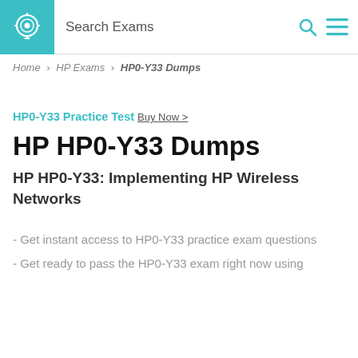Search Exams
Home > HP Exams > HP0-Y33 Dumps
HP0-Y33 Practice Test Buy Now >
HP HP0-Y33 Dumps
HP HP0-Y33: Implementing HP Wireless Networks
- Get instant access to HP0-Y33 practice exam questions
- Get ready to pass the HP0-Y33 exam right now using